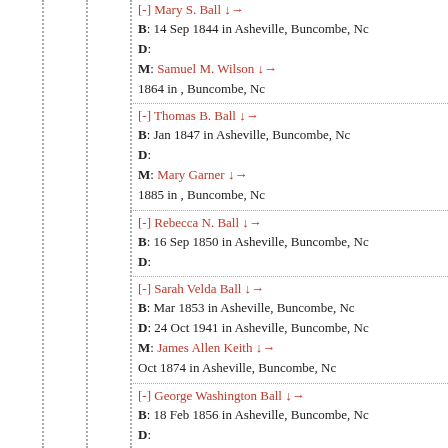[-] Mary S. Ball ↓→
B: 14 Sep 1844 in Asheville, Buncombe, Nc
D:
M: Samuel M. Wilson ↓→
1864 in , Buncombe, Nc
[-] Thomas B. Ball ↓→
B: Jan 1847 in Asheville, Buncombe, Nc
D:
M: Mary Garner ↓→
1885 in , Buncombe, Nc
[-] Rebecca N. Ball ↓→
B: 16 Sep 1850 in Asheville, Buncombe, Nc
D:
[-] Sarah Velda Ball ↓→
B: Mar 1853 in Asheville, Buncombe, Nc
D: 24 Oct 1941 in Asheville, Buncombe, Nc
M: James Allen Keith ↓→
Oct 1874 in Asheville, Buncombe, Nc
[-] George Washington Ball ↓→
B: 18 Feb 1856 in Asheville, Buncombe, Nc
D: